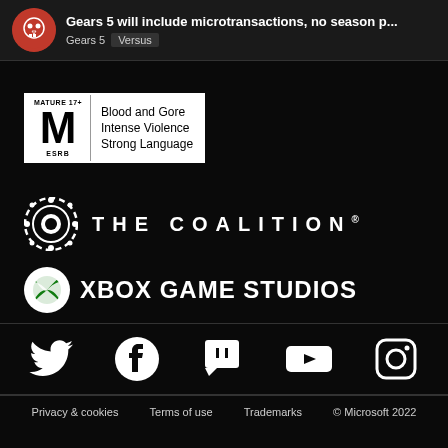Gears 5 will include microtransactions, no season p... | Gears 5 | Versus
[Figure (logo): ESRB Mature 17+ rating box with Blood and Gore, Intense Violence, Strong Language]
[Figure (logo): The Coalition logo with circular gear emblem and THE COALITION text]
[Figure (logo): Xbox Game Studios logo with Xbox sphere icon and XBOX GAME STUDIOS text]
[Figure (infographic): Social media icons row: Twitter, Facebook, Twitch, YouTube, Instagram]
Privacy & cookies   Terms of use   Trademarks   © Microsoft 2022